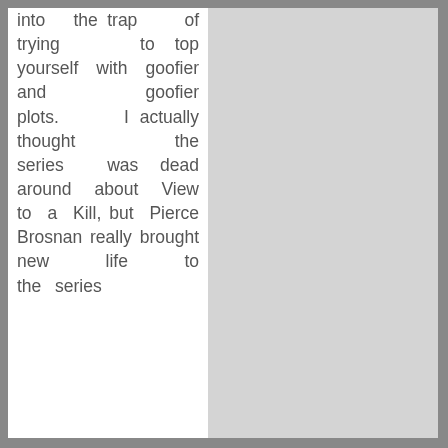into the trap of trying to top yourself with goofier and goofier plots. I actually thought the series was dead around about View to a Kill, but Pierce Brosnan really brought new life to the series